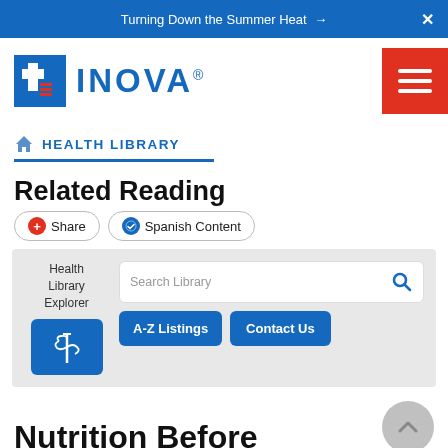Turning Down the Summer Heat →
[Figure (logo): Inova Health System logo — blue square icon with cross and red lines, followed by INOVA in blue bold text with registered trademark symbol]
[Figure (infographic): Red hamburger menu button with three white horizontal bars]
HEALTH LIBRARY
Related Reading
[Figure (infographic): Share button (red circle with plus icon) and Spanish Content button (blue circle with checkmark icon)]
[Figure (infographic): Health Library Explorer panel with search bar, A-Z Listings button, and Contact Us button]
Nutrition Before